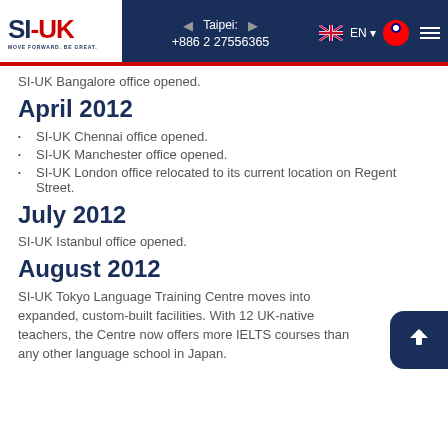SI-UK | MOVE FORWARD. BE GREAT. | Taipei: +886 2 27556365 | EN
SI-UK Bangalore office opened.
April 2012
SI-UK Chennai office opened.
SI-UK Manchester office opened.
SI-UK London office relocated to its current location on Regent Street.
July 2012
SI-UK Istanbul office opened.
August 2012
SI-UK Tokyo Language Training Centre moves into expanded, custom-built facilities. With 12 UK-native teachers, the Centre now offers more IELTS courses than any other language school in Japan.